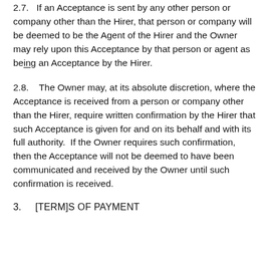2.7. If an Acceptance is sent by any other person or company other than the Hirer, that person or company will be deemed to be the Agent of the Hirer and the Owner may rely upon this Acceptance by that person or agent as being an Acceptance by the Hirer.
2.8. The Owner may, at its absolute discretion, where the Acceptance is received from a person or company other than the Hirer, require written confirmation by the Hirer that such Acceptance is given for and on its behalf and with its full authority. If the Owner requires such confirmation, then the Acceptance will not be deemed to have been communicated and received by the Owner until such confirmation is received.
3. [TERMS] OF PAYMENT